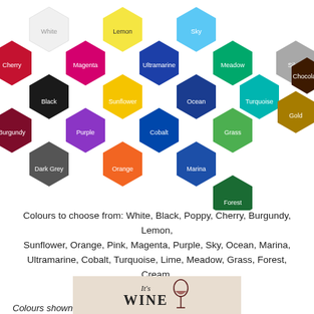[Figure (illustration): Honeycomb grid of colored hexagons showing available vinyl sticker colours: White, Lemon, Sky, Cherry, Magenta, Ultramarine, Meadow, Silver, Black, Sunflower, Ocean, Turquoise, Chocolate, Gold, Burgundy, Purple, Cobalt, Grass, Orange, Marina, Dark Grey, Forest]
Colours to choose from: White, Black, Poppy, Cherry, Burgundy, Lemon, Sunflower, Orange, Pink, Magenta, Purple, Sky, Ocean, Marina, Ultramarine, Cobalt, Turquoise, Lime, Meadow, Grass, Forest, Cream, Chocolate, Silver & Gold.
Colours shown are the nearest to on screen, colours will be different when compare with actual vinyl stickers.
Have a question or would like to order by phone? Call us on 01843 232016 Monday to Friday 10am to 4pm.
You may also like:
[Figure (photo): Product photo showing 'It's WINE' wall sticker text with a wine glass graphic on a beige/cream wall]